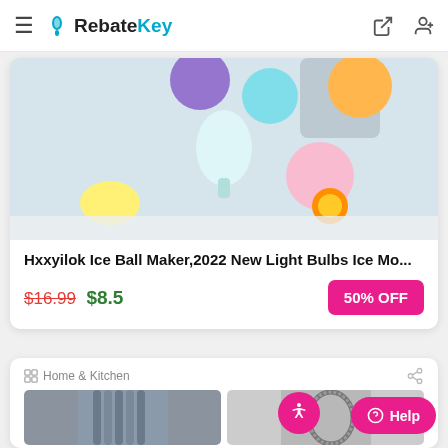RebateKey — hamburger menu, login, and user icons
[Figure (photo): Product photo of colorful round ice ball makers shaped like light bulbs with fruit accents on a white background]
Hxxyilok Ice Ball Maker,2022 New Light Bulbs Ice Mo...
$16.99 $8.5  50% OFF
Home & Kitchen
[Figure (photo): Two product images partially visible: metallic straws on left, decorative oval ring on right]